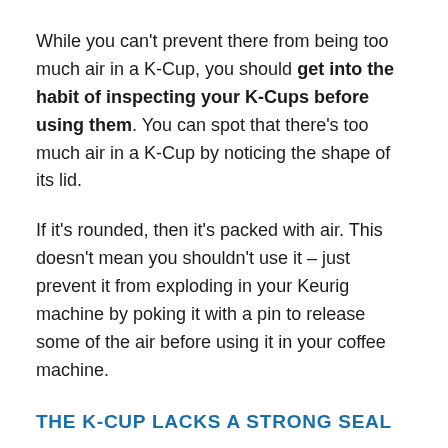While you can't prevent there from being too much air in a K-Cup, you should get into the habit of inspecting your K-Cups before using them. You can spot that there's too much air in a K-Cup by noticing the shape of its lid.
If it's rounded, then it's packed with air. This doesn't mean you shouldn't use it – just prevent it from exploding in your Keurig machine by poking it with a pin to release some of the air before using it in your coffee machine.
THE K-CUP LACKS A STRONG SEAL
If your K-Cup isn't sealed correctly, this can result in a messy explosion. Inspect the seal of your K-Cup before use. If it looks like it hasn't been sealed properly, you